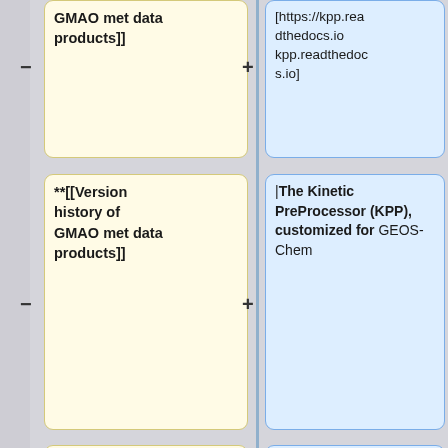GMAO met data products]]
[https://kpp.readthedocs.io kpp.readthedocs.io]
**[[Version history of GMAO met data products]]
|The Kinetic PreProcessor (KPP), customized for GEOS-Chem
**[[Available met data for nested grid simulations]]
**[[List of reprocessed met fields]]
*[[MERRA-2|GMAO MERRA-2]]
**[[List of